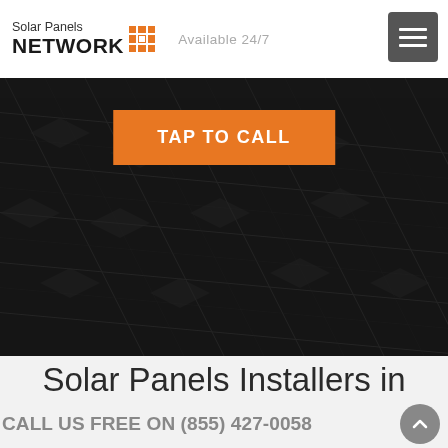Solar Panels NETWORK — Available 24/7
[Figure (screenshot): Dark hero image showing solar panels in the background with an orange 'TAP TO CALL' button overlaid in the center]
Solar Panels Installers in Bertrand, MO
CALL US FREE ON (855) 427-0058